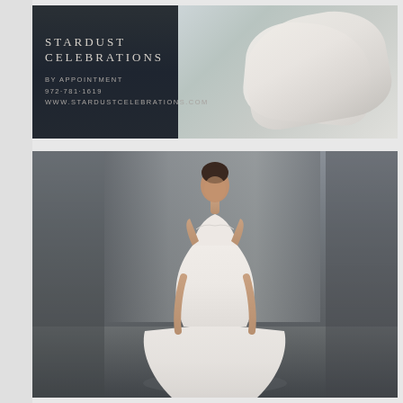[Figure (photo): Top advertisement for Stardust Celebrations bridal boutique. Dark left panel with brand name 'STARDUST CELEBRATIONS' and contact info: 'BY APPOINTMENT, 972-781-1619, WWW.STARDUSTCELEBRATIONS.COM'. Right panel shows soft-focus bridal veils and fabric in ivory/white tones against gray background.]
[Figure (photo): Fashion/runway photo of a female model wearing a strapless sweetheart neckline mermaid-style wedding gown with lace bodice detailing. The gown is ivory/white. Model has dark hair pulled up. Background is a neutral gray studio/runway setting. Full-length shot showing the gown's fitted silhouette and flowing skirt/train.]